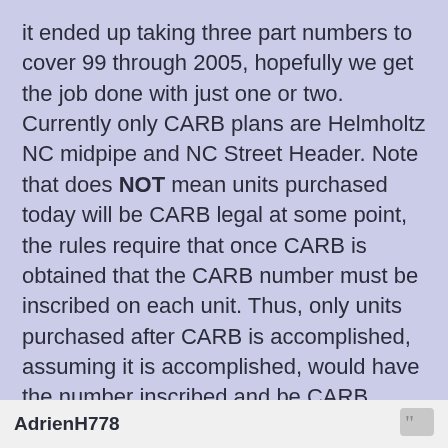it ended up taking three part numbers to cover 99 through 2005, hopefully we get the job done with just one or two. Currently only CARB plans are Helmholtz NC midpipe and NC Street Header. Note that does NOT mean units purchased today will be CARB legal at some point, the rules require that once CARB is obtained that the CARB number must be inscribed on each unit. Thus, only units purchased after CARB is accomplished, assuming it is accomplished, would have the number inscribed and be CARB legal.
Brian Goodwin
Good-Win Racing
www.good-win-racing.com
AdrienH778